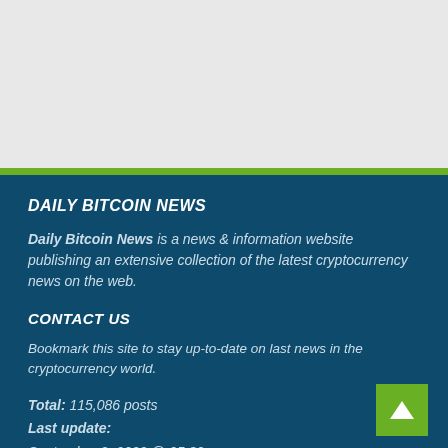[Figure (other): Light gray empty top section of a webpage]
DAILY BITCOIN NEWS
Daily Bitcoin News is a news & information website publishing an extensive collection of the latest cryptocurrency news on the web.
CONTACT US
Bookmark this site to stay up-to-date on last news in the cryptocurrency world.
Total: 115,086 posts
Last update:
September 2, 2022 @ 05:30